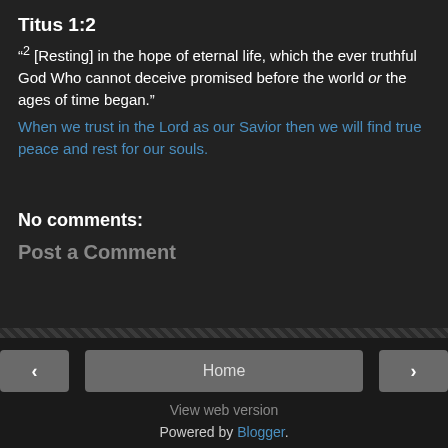Titus 1:2
“2 [Resting] in the hope of eternal life, which the ever truthful God Who cannot deceive promised before the world or the ages of time began.”
When we trust in the Lord as our Savior then we will find true peace and rest for our souls.
No comments:
Post a Comment
Home | View web version | Powered by Blogger.